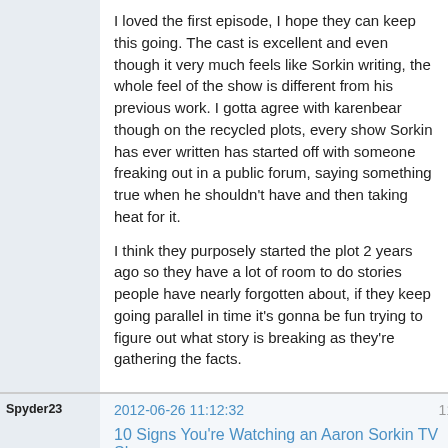I loved the first episode, I hope they can keep this going. The cast is excellent and even though it very much feels like Sorkin writing, the whole feel of the show is different from his previous work. I gotta agree with karenbear though on the recycled plots, every show Sorkin has ever written has started off with someone freaking out in a public forum, saying something true when he shouldn't have and then taking heat for it.

I think they purposely started the plot 2 years ago so they have a lot of room to do stories people have nearly forgotten about, if they keep going parallel in time it's gonna be fun trying to figure out what story is breaking as they're gathering the facts.
Spyder23
2012-06-26 11:12:32
11
10 Signs You're Watching an Aaron Sorkin TV Show
[Figure (screenshot): NEXT EPISODE button with orange and grey styling]
[Figure (screenshot): next-episode.net banner showing TV NEWS ANCHOR text with small credits below]